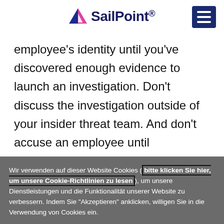[Figure (logo): SailPoint logo with triangle icon in blue/pink/white and text 'SailPoint.' in dark navy, plus hamburger menu button in dark navy on the right]
employee's identity until you've discovered enough evidence to launch an investigation. Don't discuss the investigation outside of your insider threat team. And don't accuse an employee until
Wir verwenden auf dieser Website Cookies ( bitte klicken Sie hier, um unsere Cookie-Richtlinien zu lesen ), um unsere Dienstleistungen und die Funktionalität unserer Website zu verbessern. Indem Sie "Akzeptieren" anklicken, willigen Sie in die Verwendung von Cookies ein.
Cookie-Einstellungen
Cookies Akzeptieren